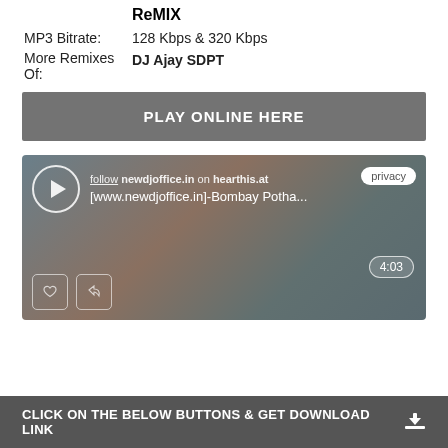ReMIX
MP3 Bitrate:   128 Kbps & 320 Kbps
More Remixes Of:   DJ Ajay SDPT
PLAY ONLINE HERE
[Figure (screenshot): Audio player widget from hearthis.at showing track '[www.newdjoffice.in]-Bombay Potha...' with play button, privacy badge, duration 4:03, like and repost buttons]
CLICK ON THE BELOW BUTTONS & GET DOWNLOAD LINK